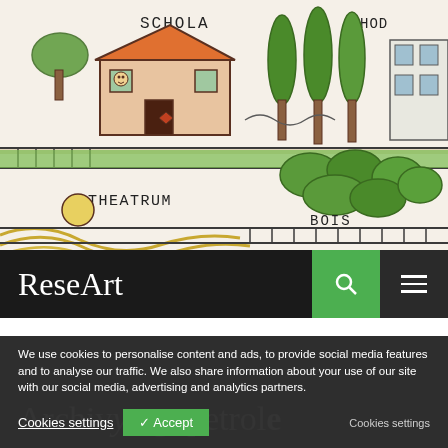[Figure (illustration): Hand-drawn colored sketch of a site plan showing a school building labeled 'SCHOLA', trees, a 'THEATRUM' area, 'BOIS' (woodland), railings/fence, and a curved path. The drawing uses pen and colored pencils with orange, green, and yellow tones.]
ReseArt
Archivytag: petrole
We use cookies to personalise content and ads, to provide social media features and to analyse our traffic. We also share information about your use of our site with our social media, advertising and analytics partners.
Cookies settings
✓ Accept
Cookies settings